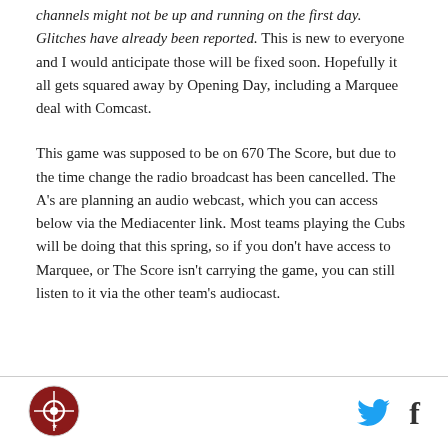channels might not be up and running on the first day. Glitches have already been reported. This is new to everyone and I would anticipate those will be fixed soon. Hopefully it all gets squared away by Opening Day, including a Marquee deal with Comcast.
This game was supposed to be on 670 The Score, but due to the time change the radio broadcast has been cancelled. The A's are planning an audio webcast, which you can access below via the Mediacenter link. Most teams playing the Cubs will be doing that this spring, so if you don't have access to Marquee, or The Score isn't carrying the game, you can still listen to it via the other team's audiocast.
[Figure (logo): Circular sports team logo in footer, dark red and white design]